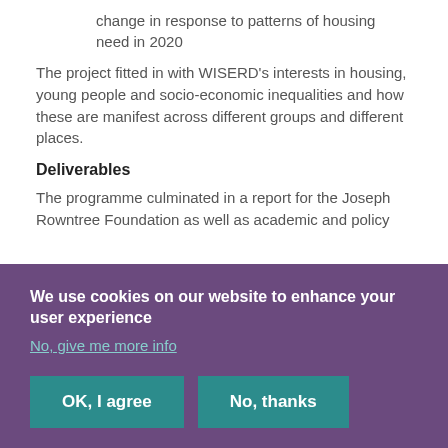change in response to patterns of housing need in 2020
The project fitted in with WISERD’s interests in housing, young people and socio-economic inequalities and how these are manifest across different groups and different places.
Deliverables
The programme culminated in a report for the Joseph Rowntree Foundation as well as academic and policy
We use cookies on our website to enhance your user experience
No, give me more info
OK, I agree
No, thanks